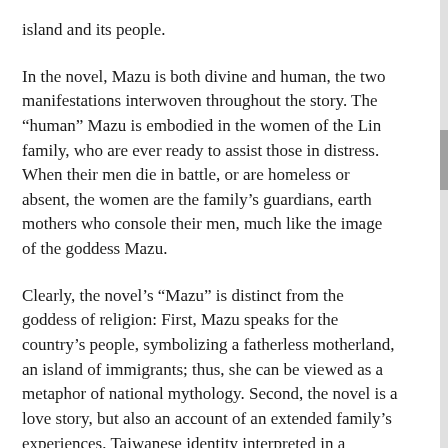island and its people.
In the novel, Mazu is both divine and human, the two manifestations interwoven throughout the story. The “human” Mazu is embodied in the women of the Lin family, who are ever ready to assist those in distress. When their men die in battle, or are homeless or absent, the women are the family’s guardians, earth mothers who console their men, much like the image of the goddess Mazu.
Clearly, the novel’s “Mazu” is distinct from the goddess of religion: First, Mazu speaks for the country’s people, symbolizing a fatherless motherland, an island of immigrants; thus, she can be viewed as a metaphor of national mythology. Second, the novel is a love story, but also an account of an extended family’s experiences, Taiwanese identity interpreted in a matrilineal context. Written in the 1990s, Mazu’s Bodyguards ranks as one of Taiwan most important works of historical fiction and a classic of literature on the goddess Mazu.